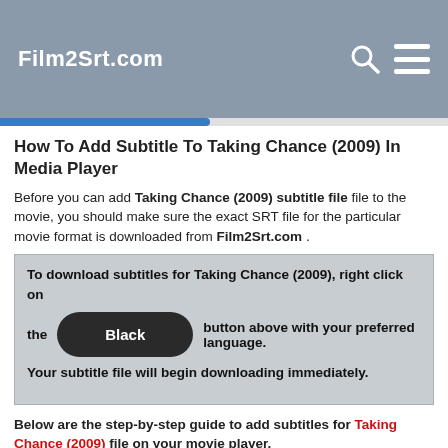Film2Srt.com
How To Add Subtitle To Taking Chance (2009) In Media Player
Before you can add Taking Chance (2009) subtitle file file to the movie, you should make sure the exact SRT file for the particular movie format is downloaded from Film2Srt.com .
To download subtitles for Taking Chance (2009), right click on the Black button above with your preferred language. Your subtitle file will begin downloading immediately.
Below are the step-by-step guide to add subtitles for Taking Chance (2009) file on your movie player.